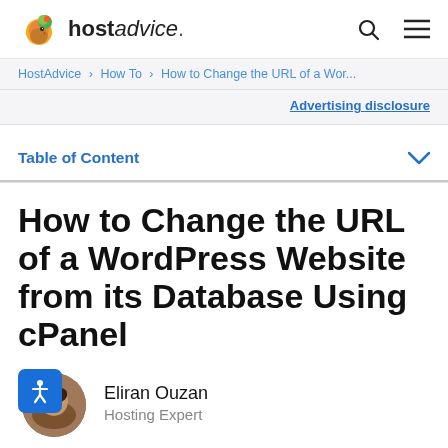hostadvice. [search] [menu]
HostAdvice / How To / How to Change the URL of a Wor...
Advertising disclosure
Table of Content
How to Change the URL of a WordPress Website from its Database Using cPanel
Eliran Ouzan
Hosting Expert